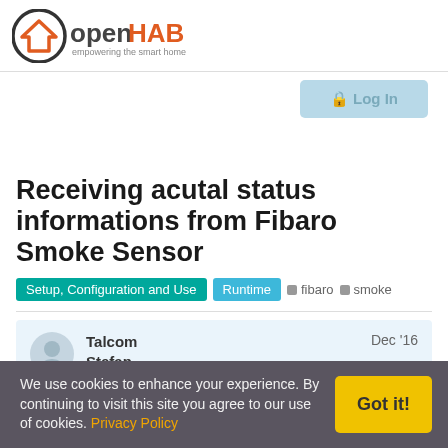[Figure (logo): openHAB logo with house/chevron icon in dark circle, text 'openHAB' in dark grey and orange, tagline 'empowering the smart home']
[Figure (screenshot): A login button (greyed out / light blue)]
Receiving acutal status informations from Fibaro Smoke Sensor
Setup, Configuration and Use   Runtime   fibaro   smoke
Talcom Stefan   Dec '16
We use cookies to enhance your experience. By continuing to visit this site you agree to our use of cookies. Privacy Policy   Got it!